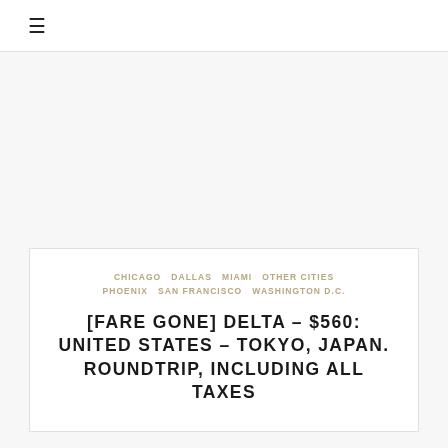≡
CHICAGO  DALLAS  MIAMI  OTHER CITIES  PHOENIX  SAN FRANCISCO  WASHINGTON D.C.
[FARE GONE] DELTA – $560: UNITED STATES – TOKYO, JAPAN. ROUNDTRIP, INCLUDING ALL TAXES